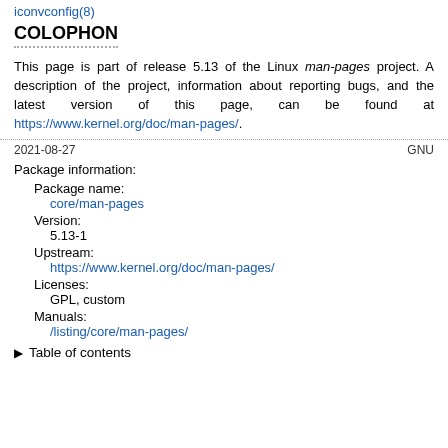iconvconfig(8)
COLOPHON
This page is part of release 5.13 of the Linux man-pages project. A description of the project, information about reporting bugs, and the latest version of this page, can be found at https://www.kernel.org/doc/man-pages/.
2021-08-27    GNU
Package information:
Package name:
core/man-pages
Version:
5.13-1
Upstream:
https://www.kernel.org/doc/man-pages/
Licenses:
GPL, custom
Manuals:
/listing/core/man-pages/
▶ Table of contents